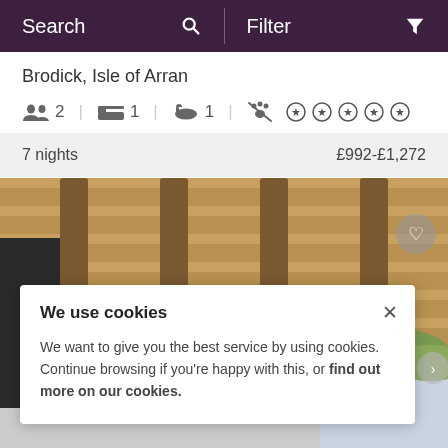Search | Filter
Brodick, Isle of Arran
2 guests | 1 bedroom | 1 bathroom | no pets | 5 stars
7 nights  £992-£1,272
[Figure (photo): Underside of a wooden deck/canopy structure with wooden beams, green fields visible in background]
We use cookies
We want to give you the best service by using cookies. Continue browsing if you're happy with this, or find out more on our cookies.